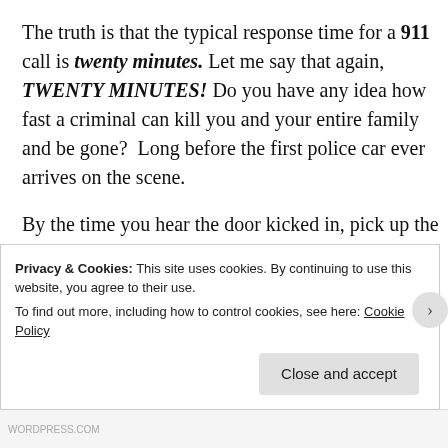The truth is that the typical response time for a 911 call is twenty minutes. Let me say that again, TWENTY MINUTES! Do you have any idea how fast a criminal can kill you and your entire family and be gone? Long before the first police car ever arrives on the scene.
By the time you hear the door kicked in, pick up the phone "instead of a gun," that bad guy is already in your home looking for you, and or a family member. Now you can grab your shotgun and fire a warning shot like Mr. Biden suggested, or you can call 911 and try to stay alive while the cop finishes eating dinner, or writing up that guy that...
Privacy & Cookies: This site uses cookies. By continuing to use this website, you agree to their use.
To find out more, including how to control cookies, see here: Cookie Policy
Close and accept